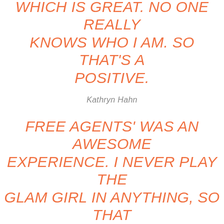WHICH IS GREAT. NO ONE REALLY KNOWS WHO I AM. SO THAT'S A POSITIVE.
Kathryn Hahn
FREE AGENTS' WAS AN AWESOME EXPERIENCE. I NEVER PLAY THE GLAM GIRL IN ANYTHING, SO THAT WAS A NEW EXPERIENCE. I WOULD WALK INTO ONE OF MY TRAILERS AND IT WOULD BE LIKE SPANX, A SPRAY-TAN GUN, AND CHICKEN CUTLETS. I WOULD HAVE HAIR EXTENSIONS. IT WAS HILARIOUS. EVERY DAY FELT LIKE I